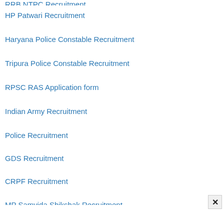RRB NTPC Recruitment
HP Patwari Recruitment
Haryana Police Constable Recruitment
Tripura Police Constable Recruitment
RPSC RAS Application form
Indian Army Recruitment
Police Recruitment
GDS Recruitment
CRPF Recruitment
MP Samvida Shikshak Recruitment